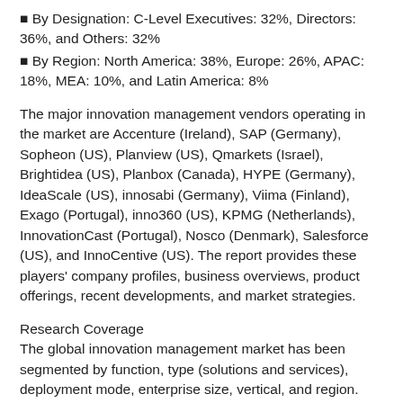● By Designation: C-Level Executives: 32%, Directors: 36%, and Others: 32%
● By Region: North America: 38%, Europe: 26%, APAC: 18%, MEA: 10%, and Latin America: 8%
The major innovation management vendors operating in the market are Accenture (Ireland), SAP (Germany), Sopheon (US), Planview (US), Qmarkets (Israel), Brightidea (US), Planbox (Canada), HYPE (Germany), IdeaScale (US), innosabi (Germany), Viima (Finland), Exago (Portugal), inno360 (US), KPMG (Netherlands), InnovationCast (Portugal), Nosco (Denmark), Salesforce (US), and InnoCentive (US). The report provides these players' company profiles, business overviews, product offerings, recent developments, and market strategies.
Research Coverage
The global innovation management market has been segmented by function, type (solutions and services), deployment mode, enterprise size, vertical, and region. The